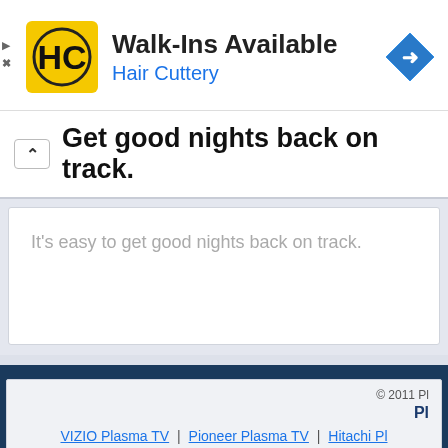[Figure (logo): Hair Cuttery HC yellow and black logo square]
Walk-Ins Available
Hair Cuttery
[Figure (logo): Blue diamond direction arrow icon]
Get good nights back on track.
It's easy to get good nights back on track.
© 2011 Pl
Pl
VIZIO Plasma TV | Pioneer Plasma TV | Hitachi Pl
Plasma TV Buying Guide | Buying Guide Index | Comparison Ch
Plasma vs LC